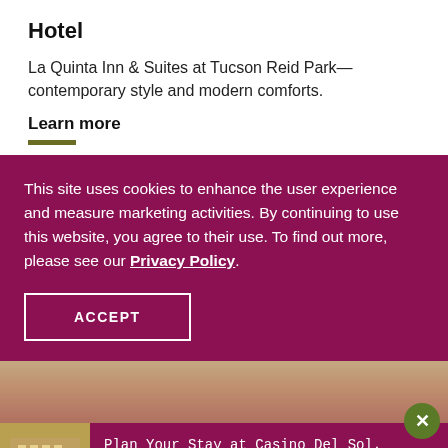Hotel
La Quinta Inn & Suites at Tucson Reid Park— contemporary style and modern comforts.
Learn more
This site uses cookies to enhance the user experience and measure marketing activities. By continuing to use this website, you agree to their use. To find out more, please see our Privacy Policy.
ACCEPT
[Figure (photo): Blurred/out-of-focus background image of hotel or resort]
[Figure (photo): Photo of Casino Del Sol hotel building with palm trees]
Plan Your Stay at Casino Del Sol. Learn more →